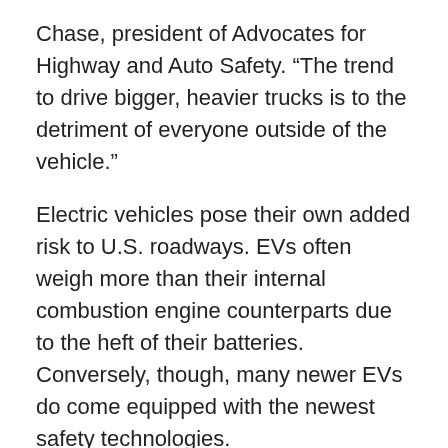Chase, president of Advocates for Highway and Auto Safety. “The trend to drive bigger, heavier trucks is to the detriment of everyone outside of the vehicle.”
Electric vehicles pose their own added risk to U.S. roadways. EVs often weigh more than their internal combustion engine counterparts due to the heft of their batteries. Conversely, though, many newer EVs do come equipped with the newest safety technologies.
The performance is also higher in many EVs. For example, the over 9,000-pound Hummer EV, which is more than double the weight of an average vehicle, has a Watts to Freedom, or WTF, mode that launches the truck 0-60 mph in about three seconds. The feature can be used anywhere. That’s an acceleration time previously exclusive to sports cars.